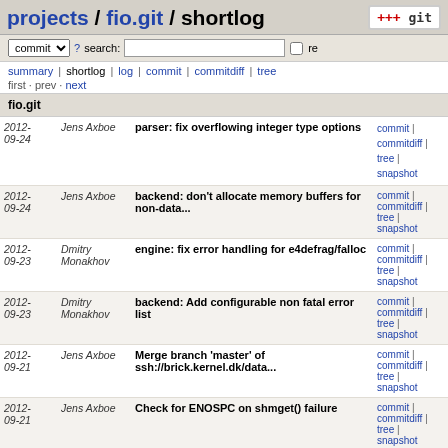projects / fio.git / shortlog
commit search: re
summary | shortlog | log | commit | commitdiff | tree
first · prev · next
fio.git
| Date | Author | Message | Links |
| --- | --- | --- | --- |
| 2012-09-24 | Jens Axboe | parser: fix overflowing integer type options | commit | commitdiff | tree | snapshot |
| 2012-09-24 | Jens Axboe | backend: don't allocate memory buffers for non-data... | commit | commitdiff | tree | snapshot |
| 2012-09-23 | Dmitry Monakhov | engine: fix error handling for e4defrag/falloc | commit | commitdiff | tree | snapshot |
| 2012-09-23 | Dmitry Monakhov | backend: Add configurable non fatal error list | commit | commitdiff | tree | snapshot |
| 2012-09-21 | Jens Axboe | Merge branch 'master' of ssh://brick.kernel.dk/data... | commit | commitdiff | tree | snapshot |
| 2012-09-21 | Jens Axboe | Check for ENOSPC on shmget() failure | commit | commitdiff | tree | snapshot |
| 2012-09-21 | Jens Axboe | Merge branch 'master' of ssh://brick.kernel.dk/data... | commit | commitdiff | tree |